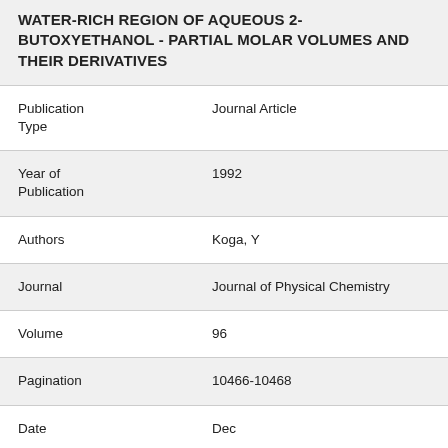WATER-RICH REGION OF AQUEOUS 2-BUTOXYETHANOL - PARTIAL MOLAR VOLUMES AND THEIR DERIVATIVES
| Field | Value |
| --- | --- |
| Publication Type | Journal Article |
| Year of Publication | 1992 |
| Authors | Koga, Y |
| Journal | Journal of Physical Chemistry |
| Volume | 96 |
| Pagination | 10466-10468 |
| Date | Dec |